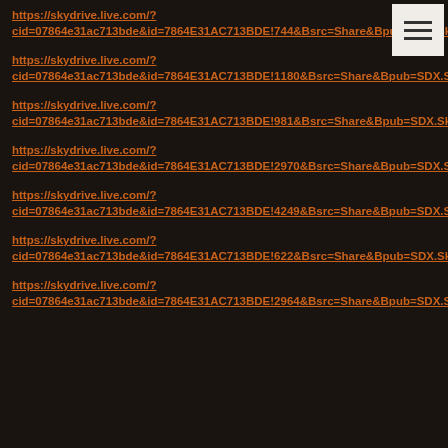https://skydrive.live.com/?cid=07864e31ac713bde&id=7864E31AC713BDE!744&Bsrc=Share&Bpub=SDX.SkyDrive&authkey=!AnVsMWWowqGizTs
https://skydrive.live.com/?cid=07864e31ac713bde&id=7864E31AC713BDE!1180&Bsrc=Share&Bpub=SDX.SkyDrive&authkey=!AnVsMWWowqGizTs
https://skydrive.live.com/?cid=07864e31ac713bde&id=7864E31AC713BDE!981&Bsrc=Share&Bpub=SDX.SkyDrive&authkey=!AnVsMWWowqGizTs
https://skydrive.live.com/?cid=07864e31ac713bde&id=7864E31AC713BDE!2970&Bsrc=Share&Bpub=SDX.SkyDrive&authkey=!AnVsMWWowqGizTs
https://skydrive.live.com/?cid=07864e31ac713bde&id=7864E31AC713BDE!4249&Bsrc=Share&Bpub=SDX.SkyDrive&authkey=!AnVsMWWowqGizTs
https://skydrive.live.com/?cid=07864e31ac713bde&id=7864E31AC713BDE!622&Bsrc=Share&Bpub=SDX.SkyDrive&authkey=!AnVsMWWowqGizTs
https://skydrive.live.com/?cid=07864e31ac713bde&id=7864E31AC713BDE!2964&Bsrc=Share&Bpub=SDX.SkyDrive&authkey=!AnVsMWWowqGizTs